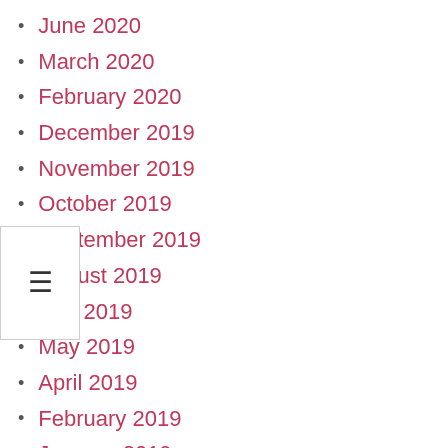June 2020
March 2020
February 2020
December 2019
November 2019
October 2019
September 2019
August 2019
July 2019
May 2019
April 2019
February 2019
January 2019
December 2018
October 2018
September 2018
August 2018
July 2018
March 2018